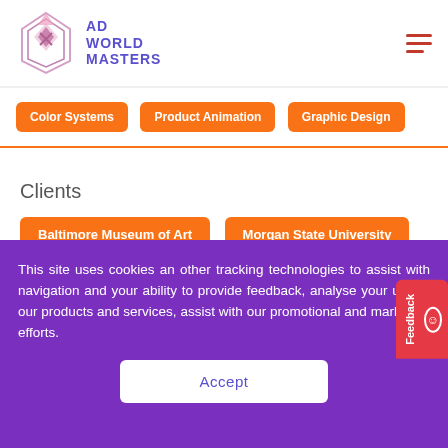[Figure (logo): Ad World Masters logo with geometric diamond/triangle icon in pink/purple and text 'AD WORLD MASTERS' in dark blue]
Color Systems
Product Animation
Graphic Design
Clients
Baltimore Museum of Art
Morgan State University
Latest Projects
[Figure (illustration): Isometric illustration of a laptop/computer with colorful elements on an orange background]
[Figure (photo): Partial photo of an indoor space with warm/amber lighting]
This site uses cookies an other tracking technologies to assist with navigation and your ability to provide feedback, analyse your use of our products and services, assist with our promotional and marketing efforts.
Accept